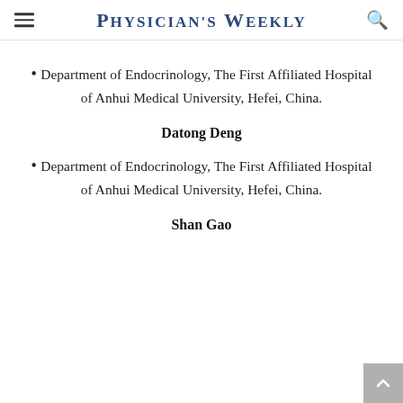Physician's Weekly
Department of Endocrinology, The First Affiliated Hospital of Anhui Medical University, Hefei, China.
Datong Deng
Department of Endocrinology, The First Affiliated Hospital of Anhui Medical University, Hefei, China.
Shan Gao